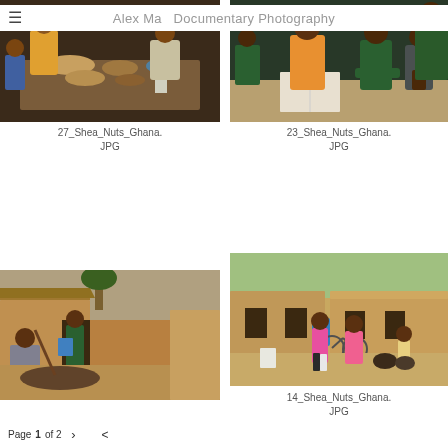≡  Alex Ma  Documentary Photography
[Figure (photo): Indoor scene in Ghana: women and children around a table with food bowls and containers]
[Figure (photo): Classroom scene in Ghana: children in orange and green school uniforms seated at desks with a book open]
27_Shea_Nuts_Ghana.JPG
23_Shea_Nuts_Ghana.JPG
[Figure (photo): Outdoor rural scene in Ghana: a person crouching near an earthen building with a thatched roof, child standing in doorway]
[Figure (photo): Outdoor scene in Ghana: three children standing in a dusty courtyard with earthen buildings in the background]
14_Shea_Nuts_Ghana.JPG
Page 1 of 2